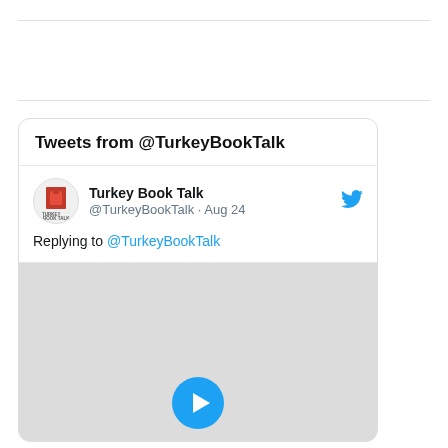[Figure (screenshot): Twitter/X widget showing tweets from @TurkeyBookTalk. Contains a tweet card with Turkey Book Talk account header, a reply indicator 'Replying to @TurkeyBookTalk', and a video thumbnail with a play button.]